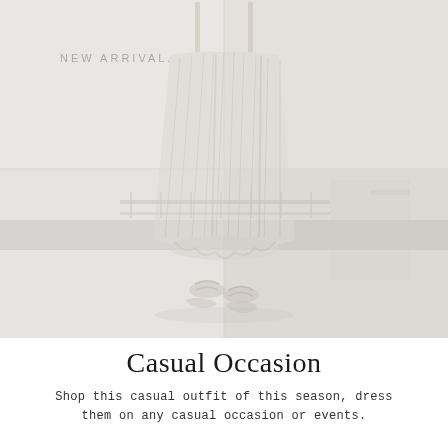[Figure (photo): Faded fashion photo showing a model wearing a white/cream pleated dress or skirt with striped details, photographed outdoors. The image is divided into a 2x2 grid of panels with slightly different tones. The lower portion shows the model's feet wearing strappy sandals on what appears to be a light-colored surface.]
Casual Occasion
Shop this casual outfit of this season, dress them on any casual occasion or events.